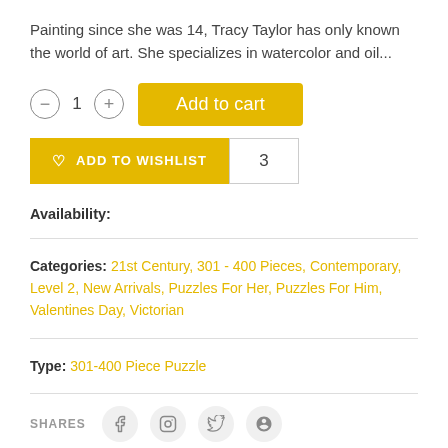Painting since she was 14, Tracy Taylor has only known the world of art. She specializes in watercolor and oil...
[Figure (screenshot): E-commerce product page UI showing quantity selector with minus button, '1', plus button, and yellow 'Add to cart' button, followed by a yellow 'ADD TO WISHLIST' button with count badge '3']
Availability:
Categories: 21st Century, 301 - 400 Pieces, Contemporary, Level 2, New Arrivals, Puzzles For Her, Puzzles For Him, Valentines Day, Victorian
Type: 301-400 Piece Puzzle
SHARES